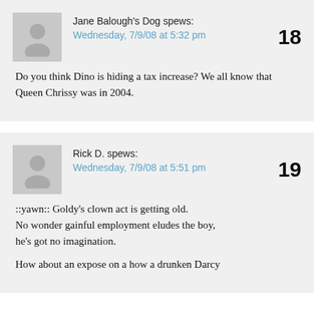Jane Balough's Dog spews:
Wednesday, 7/9/08 at 5:32 pm
18
Do you think Dino is hiding a tax increase? We all know that Queen Chrissy was in 2004.
Rick D. spews:
Wednesday, 7/9/08 at 5:51 pm
19
::yawn:: Goldy's clown act is getting old.
No wonder gainful employment eludes the boy, he's got no imagination.
How about an expose on a how a drunken Darcy